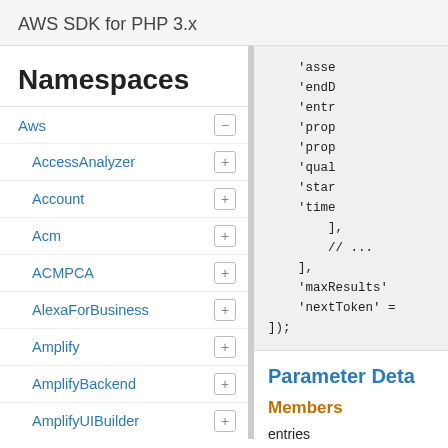AWS SDK for PHP 3.x
Namespaces
Aws
AccessAnalyzer
Account
Acm
ACMPCA
AlexaForBusiness
Amplify
AmplifyBackend
AmplifyUIBuilder
Api
ApiGateway
ApiGatewayManagementApi
[Figure (screenshot): Code block showing PHP array with keys: 'asse...', 'endD...', 'entr...', 'prop...', 'prop...', 'qual...', 'star...', 'time...' followed by ], // ..., ], 'maxResults' =>, 'nextToken' =>, ]);]
Parameter Deta...
Members
entries